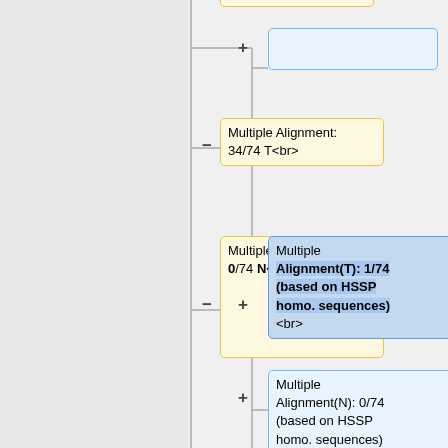[Figure (flowchart): Partial flowchart/decision tree showing multiple alignment nodes with yellow boxes on the left (local/collapsed) and blue boxes on the right (expanded options). Nodes include: 'N<br>', 'Multiple Alignment: 34/74 T<br>', 'Multiple Alingment: 0/74 N<br>' on the left; and empty box, 'Multiple Alignment(T): 1/74 (based on HSSP homo. sequences)<br>', 'Multiple Alignment(N): 0/74 (based on HSSP homo. sequences)<br>', empty box, 'Multiple Alignment(T): 52/76 (based on UniProt BLAST homo. sequences)<br>' on the right, with plus/minus signs and connecting lines.]